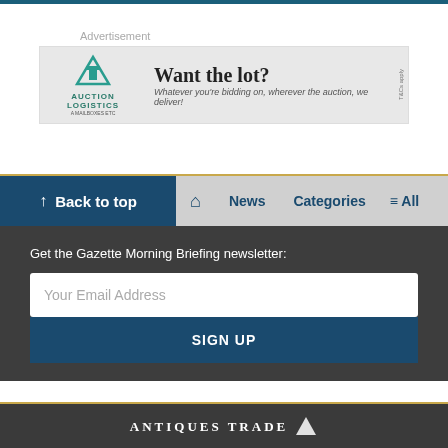Advertisement
[Figure (other): Auction Logistics advertisement banner: 'Want the lot? Whatever you're bidding on, wherever the auction, we deliver!']
↑ Back to top   🏠   News   Categories   ≡ All
Get the Gazette Morning Briefing newsletter:
Your Email Address
SIGN UP
ANTIQUES TRADE